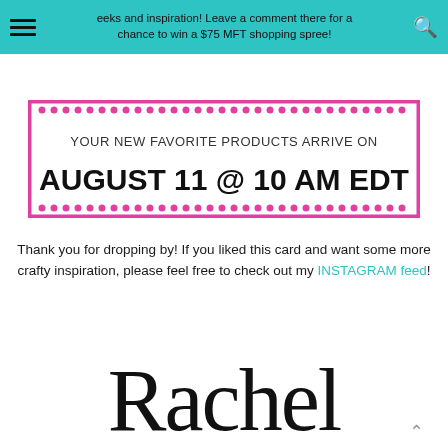eeks and inspiration! Leave a comment there for a chance to win a $75 MFT shopping spree!
[Figure (infographic): Pink dotted border banner reading: YOUR NEW FAVORITE PRODUCTS ARRIVE ON AUGUST 11 @ 10 AM EDT]
Thank you for dropping by! If you liked this card and want some more crafty inspiration, please feel free to check out my INSTAGRAM feed!
[Figure (illustration): Handwritten cursive signature reading Rachel with a decorative flourish]